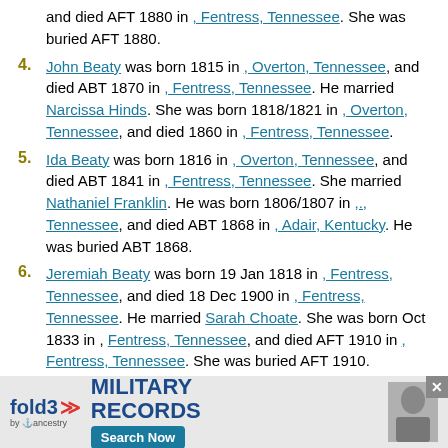and died AFT 1880 in , Fentress, Tennessee. She was buried AFT 1880.
4. John Beaty was born 1815 in , Overton, Tennessee, and died ABT 1870 in , Fentress, Tennessee. He married Narcissa Hinds. She was born 1818/1821 in , Overton, Tennessee, and died 1860 in , Fentress, Tennessee.
5. Ida Beaty was born 1816 in , Overton, Tennessee, and died ABT 1841 in , Fentress, Tennessee. She married Nathaniel Franklin. He was born 1806/1807 in ,., Tennessee, and died ABT 1868 in , Adair, Kentucky. He was buried ABT 1868.
6. Jeremiah Beaty was born 19 Jan 1818 in , Fentress, Tennessee, and died 18 Dec 1900 in , Fentress, Tennessee. He married Sarah Choate. She was born Oct 1833 in , Fentress, Tennessee, and died AFT 1910 in , Fentress, Tennessee. She was buried AFT 1910.
7. David Beaty was born Mar 1820 in , Overton, Tennessee, and died ABT 1861 in , Fentress, Tennessee. He married Ja... Te... She.